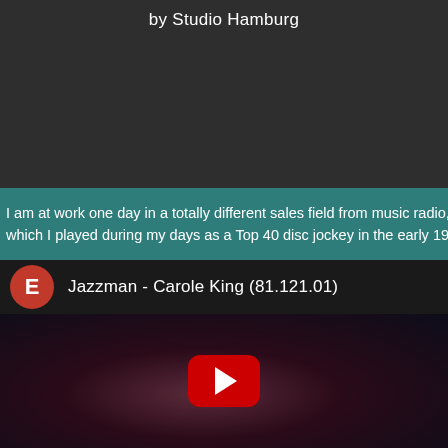by Studio Hamburg
I am at work one day in a totally different sales field from music radio, when alo which I played during my days as a Top 40 disc jockey in the early 1980s
[Figure (screenshot): YouTube video thumbnail showing a woman with long curly dark hair, dark background with purple/red tones. Video header shows orange circle avatar with letter E and title 'Jazzman - Carole King (81.121.01)' in white text. Red YouTube play button centered on thumbnail.]